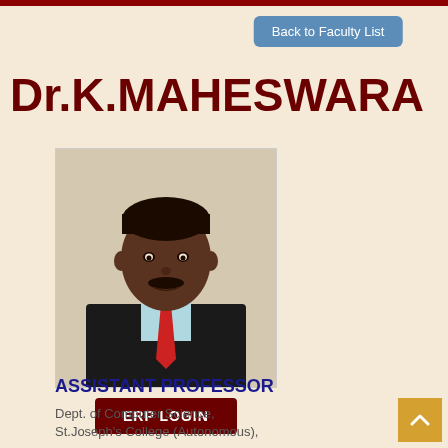Back to Faculty List
Dr.K.MAHESWARA
[Figure (photo): Portrait photo of Dr. K. Maheswara, a man wearing a black suit and red tie]
ERP LOGIN
ASSISTANT PROFESSOR
Dept. of Computer Science,
St.Joseph's College (Autonomous),